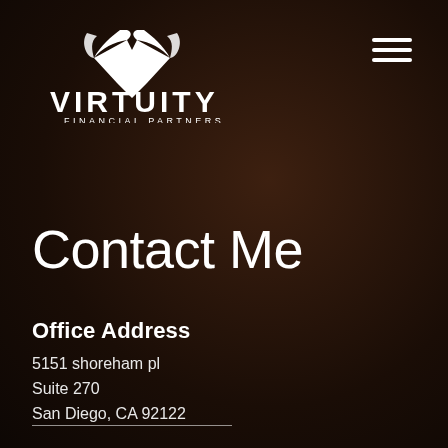[Figure (logo): Virtuity Financial Partners logo — white stylized V with bird/wing shape above text VIRTUITY in large caps and FINANCIAL PARTNERS in small caps below]
[Figure (other): Hamburger menu icon — three horizontal white lines stacked vertically]
Contact Me
Office Address
5151 shoreham pl
Suite 270
San Diego, CA 92122